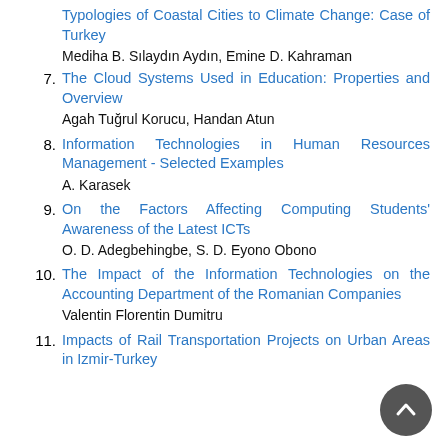Typologies of Coastal Cities to Climate Change: Case of Turkey — Mediha B. Sılaydın Aydın, Emine D. Kahraman
7. The Cloud Systems Used in Education: Properties and Overview — Agah Tuğrul Korucu, Handan Atun
8. Information Technologies in Human Resources Management - Selected Examples — A. Karasek
9. On the Factors Affecting Computing Students' Awareness of the Latest ICTs — O. D. Adegbehingbe, S. D. Eyono Obono
10. The Impact of the Information Technologies on the Accounting Department of the Romanian Companies — Valentin Florentin Dumitru
11. Impacts of Rail Transportation Projects on Urban Areas in Izmir-Turkey